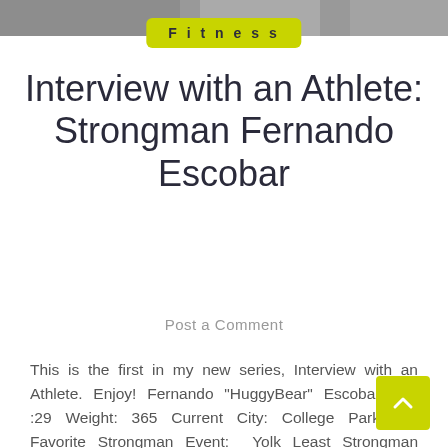[Figure (photo): Partial photo strip at top of page showing people, cropped]
Fitness
Interview with an Athlete: Strongman Fernando Escobar
Post a Comment
This is the first in my new series, Interview with an Athlete. Enjoy! Fernando "HuggyBear" Escobar Age :29 Weight: 365 Current City: College Park MD Favorite Strongman Event: Yolk Least Strongman Favorite: Circus Dumbell Profession: Fire Alarm Inspector Where do you even